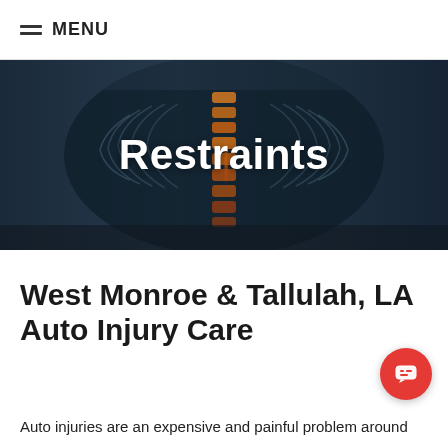MENU
[Figure (photo): Medical illustration of a human torso X-ray showing the spine highlighted in orange/yellow, set against a dark blue-gray background. The text 'Restraints' is overlaid in white bold font.]
West Monroe & Tallulah, LA Auto Injury Care
Auto injuries are an expensive and painful problem around